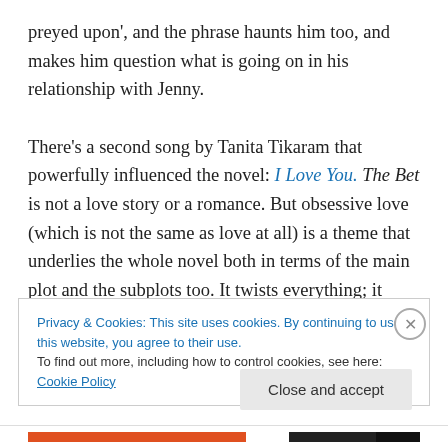preyed upon', and the phrase haunts him too, and makes him question what is going on in his relationship with Jenny.
There's a second song by Tanita Tikaram that powerfully influenced the novel: I Love You. The Bet is not a love story or a romance. But obsessive love (which is not the same as love at all) is a theme that underlies the whole novel both in terms of the main plot and the subplots too. It twists everything; it twists the two main characters into a tangle neither can extricate themselves from. Valentine
Privacy & Cookies: This site uses cookies. By continuing to use this website, you agree to their use.
To find out more, including how to control cookies, see here: Cookie Policy